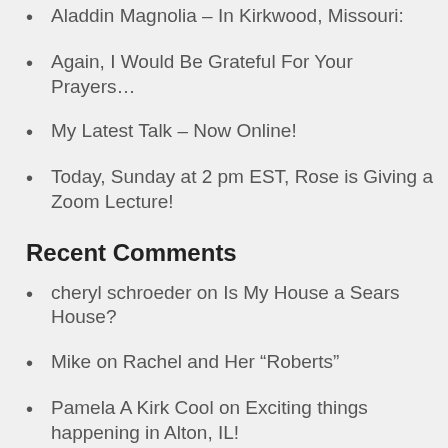Aladdin Magnolia – In Kirkwood, Missouri:
Again, I Would Be Grateful For Your Prayers…
My Latest Talk – Now Online!
Today, Sunday at 2 pm EST, Rose is Giving a Zoom Lecture!
Recent Comments
cheryl schroeder on Is My House a Sears House?
Mike on Rachel and Her “Roberts”
Pamela A Kirk Cool on Exciting things happening in Alton, IL!
Pamela A Kirk Cool on Exciting things happening in Alton, IL!
Scott Smith on Sears Modern Home #124 in Amherst Can Be Yours!